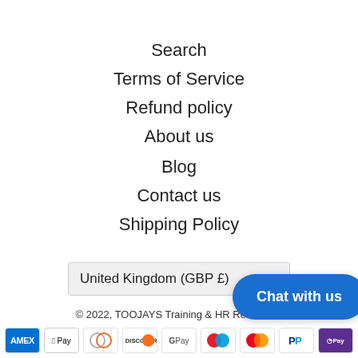Search
Terms of Service
Refund policy
About us
Blog
Contact us
Shipping Policy
United Kingdom (GBP £)
© 2022, TOOJAYS Training & HR Resources
Powered by Shopify
[Figure (other): Payment method icons: Amex, Apple Pay, Diners, Discover, Google Pay, Maestro, Mastercard, PayPal, Shop Pay]
[Figure (other): Chat with us button overlay]